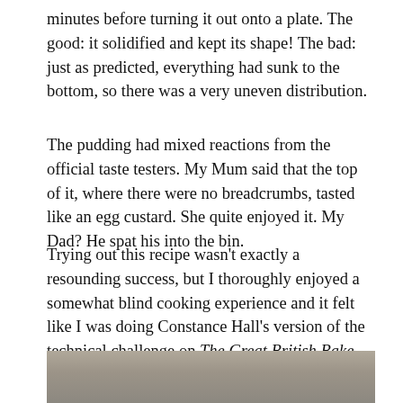minutes before turning it out onto a plate. The good: it solidified and kept its shape! The bad: just as predicted, everything had sunk to the bottom, so there was a very uneven distribution.
The pudding had mixed reactions from the official taste testers. My Mum said that the top of it, where there were no breadcrumbs, tasted like an egg custard. She quite enjoyed it. My Dad? He spat his into the bin.
Trying out this recipe wasn't exactly a resounding success, but I thoroughly enjoyed a somewhat blind cooking experience and it felt like I was doing Constance Hall's version of the technical challenge on The Great British Bake Off. If you're not sure what this is, you should definitely check it out, where you'll see baking disasters even worse than mine!
[Figure (photo): Partial photo strip at bottom of page, showing what appears to be a baked pudding dish, cropped/partially visible.]